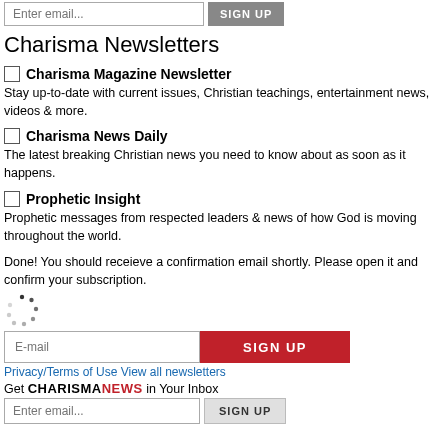Enter email... SIGN UP
Charisma Newsletters
Charisma Magazine Newsletter — Stay up-to-date with current issues, Christian teachings, entertainment news, videos & more.
Charisma News Daily — The latest breaking Christian news you need to know about as soon as it happens.
Prophetic Insight — Prophetic messages from respected leaders & news of how God is moving throughout the world.
Done! You should receieve a confirmation email shortly. Please open it and confirm your subscription.
E-mail [input] SIGN UP
Privacy/Terms of Use View all newsletters
Get CHARISMANEWS in Your Inbox
Enter email... SIGN UP